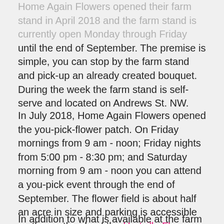Home Again Flowers opened their farm stand in April 2018 and the farm stand is currently open Monday through Friday until the end of September. The premise is simple, you can stop by the farm stand and pick-up an already created bouquet. During the week the farm stand is self-serve and located on Andrews St. NW.
In July 2018, Home Again Flowers opened the you-pick-flower patch. On Friday mornings from 9 am - noon; Friday nights from 5:00 pm - 8:30 pm; and Saturday morning from 9 am - noon you can attend a you-pick event through the end of September. The flower field is about half an acre in size and parking is accessible on the north side of the Hartville Flea Market. Home Again Flowers has everything you need for your visit – flower snips, containers of water to hold while you meander around the field, even vases for purchase if you forget to bring your own.
In addition to what is available at the farm stand/you-pick